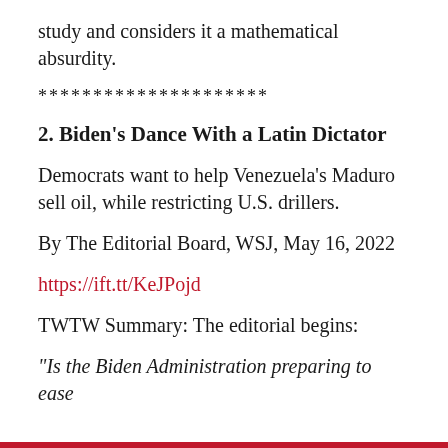study and considers it a mathematical absurdity.
*********************
2. Biden's Dance With a Latin Dictator
Democrats want to help Venezuela's Maduro sell oil, while restricting U.S. drillers.
By The Editorial Board, WSJ, May 16, 2022
https://ift.tt/KeJPojd
TWTW Summary: The editorial begins:
“Is the Biden Administration preparing to ease